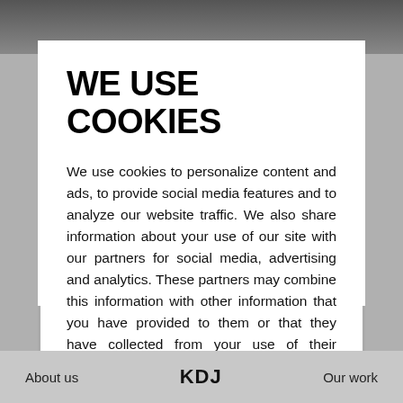[Figure (photo): Background photo of people, partially visible at the top of the page behind the cookie consent modal]
WE USE COOKIES
We use cookies to personalize content and ads, to provide social media features and to analyze our website traffic. We also share information about your use of our site with our partners for social media, advertising and analytics. These partners may combine this information with other information that you have provided to them or that they have collected from your use of their services.
Settings
ACCEPT
About us    KDJ    Our work